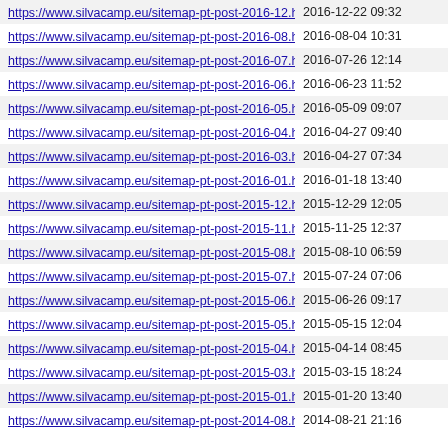| URL | Date |
| --- | --- |
| https://www.silvacamp.eu/sitemap-pt-post-2016-12.html | 2016-12-22 09:32 |
| https://www.silvacamp.eu/sitemap-pt-post-2016-08.html | 2016-08-04 10:31 |
| https://www.silvacamp.eu/sitemap-pt-post-2016-07.html | 2016-07-26 12:14 |
| https://www.silvacamp.eu/sitemap-pt-post-2016-06.html | 2016-06-23 11:52 |
| https://www.silvacamp.eu/sitemap-pt-post-2016-05.html | 2016-05-09 09:07 |
| https://www.silvacamp.eu/sitemap-pt-post-2016-04.html | 2016-04-27 09:40 |
| https://www.silvacamp.eu/sitemap-pt-post-2016-03.html | 2016-04-27 07:34 |
| https://www.silvacamp.eu/sitemap-pt-post-2016-01.html | 2016-01-18 13:40 |
| https://www.silvacamp.eu/sitemap-pt-post-2015-12.html | 2015-12-29 12:05 |
| https://www.silvacamp.eu/sitemap-pt-post-2015-11.html | 2015-11-25 12:37 |
| https://www.silvacamp.eu/sitemap-pt-post-2015-08.html | 2015-08-10 06:59 |
| https://www.silvacamp.eu/sitemap-pt-post-2015-07.html | 2015-07-24 07:06 |
| https://www.silvacamp.eu/sitemap-pt-post-2015-06.html | 2015-06-26 09:17 |
| https://www.silvacamp.eu/sitemap-pt-post-2015-05.html | 2015-05-15 12:04 |
| https://www.silvacamp.eu/sitemap-pt-post-2015-04.html | 2015-04-14 08:45 |
| https://www.silvacamp.eu/sitemap-pt-post-2015-03.html | 2015-03-15 18:24 |
| https://www.silvacamp.eu/sitemap-pt-post-2015-01.html | 2015-01-20 13:40 |
| https://www.silvacamp.eu/sitemap-pt-post-2014-08.html | 2014-08-21 21:16 |